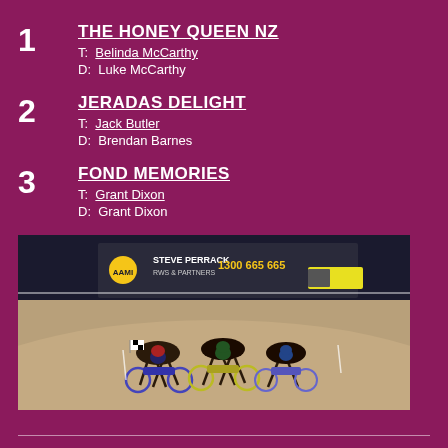1 THE HONEY QUEEN NZ
T: Belinda McCarthy
D: Luke McCarthy
2 JERADAS DELIGHT
T: Jack Butler
D: Brendan Barnes
3 FOND MEMORIES
T: Grant Dixon
D: Grant Dixon
[Figure (photo): Harness racing photo showing multiple sulky racers rounding a bend on a dirt track at night, with advertising signage visible in the background including 1300 665 666]